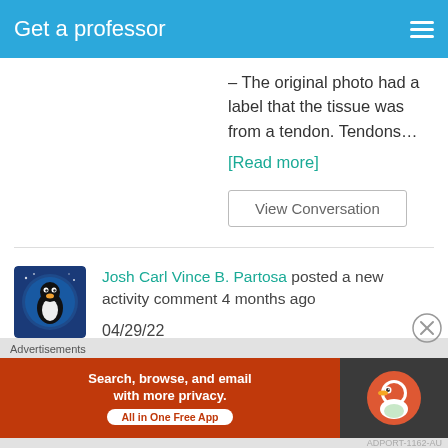Get a professor
– The original photo had a label that the tissue was from a tendon. Tendons…
[Read more]
View Conversation
Josh Carl Vince B. Partosa posted a new activity comment 4 months ago
04/29/22
[Additional Information: Histology Art
[Figure (photo): User avatar showing an illustrated character (penguin-like) in a circular blue frame]
Advertisements
[Figure (infographic): DuckDuckGo advertisement banner: orange section with text 'Search, browse, and email with more privacy. All in One Free App', dark section with DuckDuckGo logo]